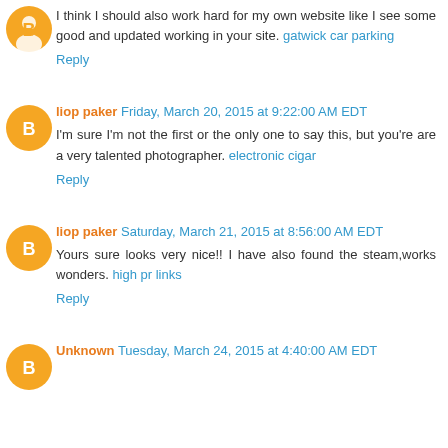I think I should also work hard for my own website like I see some good and updated working in your site. gatwick car parking
Reply
liop paker Friday, March 20, 2015 at 9:22:00 AM EDT
I'm sure I'm not the first or the only one to say this, but you're are a very talented photographer. electronic cigar
Reply
liop paker Saturday, March 21, 2015 at 8:56:00 AM EDT
Yours sure looks very nice!! I have also found the steam,works wonders. high pr links
Reply
Unknown Tuesday, March 24, 2015 at 4:40:00 AM EDT